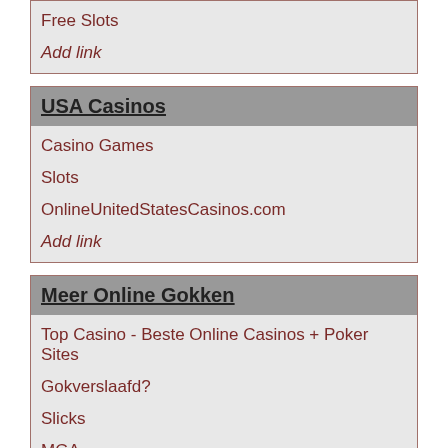Free Slots
Add link
USA Casinos
Casino Games
Slots
OnlineUnitedStatesCasinos.com
Add link
Meer Online Gokken
Top Casino - Beste Online Casinos + Poker Sites
Gokverslaafd?
Slicks
MGA
verhaltenssucht.de
gamblingtherapy.org
Add link